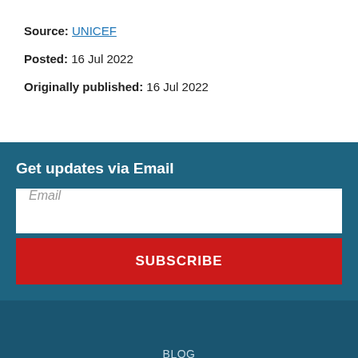Source: UNICEF
Posted: 16 Jul 2022
Originally published: 16 Jul 2022
Get updates via Email
Email
SUBSCRIBE
BLOG
LABS